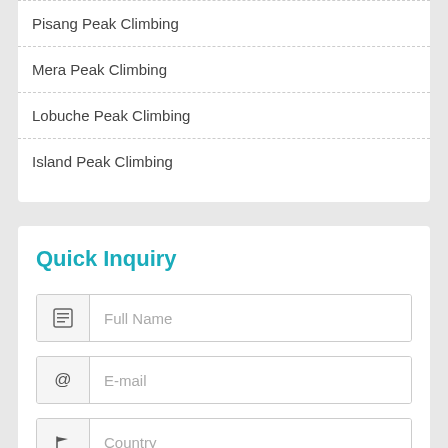Pisang Peak Climbing
Mera Peak Climbing
Lobuche Peak Climbing
Island Peak Climbing
Quick Inquiry
Full Name
E-mail
Country